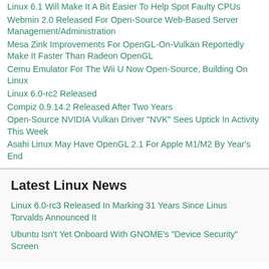Linux 6.1 Will Make It A Bit Easier To Help Spot Faulty CPUs
Webmin 2.0 Released For Open-Source Web-Based Server Management/Administration
Mesa Zink Improvements For OpenGL-On-Vulkan Reportedly Make It Faster Than Radeon OpenGL
Cemu Emulator For The Wii U Now Open-Source, Building On Linux
Linux 6.0-rc2 Released
Compiz 0.9.14.2 Released After Two Years
Open-Source NVIDIA Vulkan Driver "NVK" Sees Uptick In Activity This Week
Asahi Linux May Have OpenGL 2.1 For Apple M1/M2 By Year's End
Latest Linux News
Linux 6.0-rc3 Released In Marking 31 Years Since Linus Torvalds Announced It
Ubuntu Isn't Yet Onboard With GNOME's "Device Security" Screen